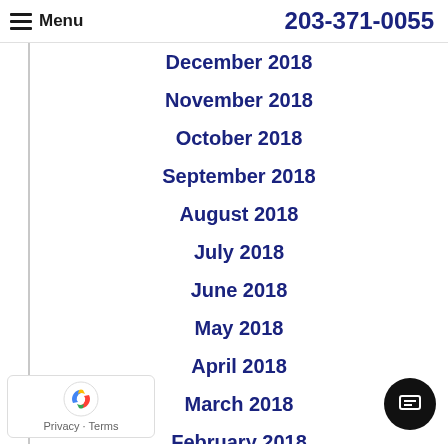Menu  203-371-0055
December 2018
November 2018
October 2018
September 2018
August 2018
July 2018
June 2018
May 2018
April 2018
March 2018
February 2018
January 2018
Privacy · Terms